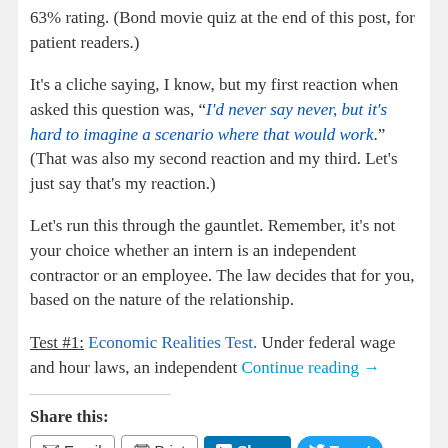63% rating. (Bond movie quiz at the end of this post, for patient readers.)
It's a cliche saying, I know, but my first reaction when asked this question was, "I'd never say never, but it's hard to imagine a scenario where that would work." (That was also my second reaction and my third. Let's just say that's my reaction.)
Let's run this through the gauntlet. Remember, it's not your choice whether an intern is an independent contractor or an employee. The law decides that for you, based on the nature of the relationship.
Test #1: Economic Realities Test. Under federal wage and hour laws, an independent Continue reading →
Share this:
Email  Print  Share  Tweet  Share 0